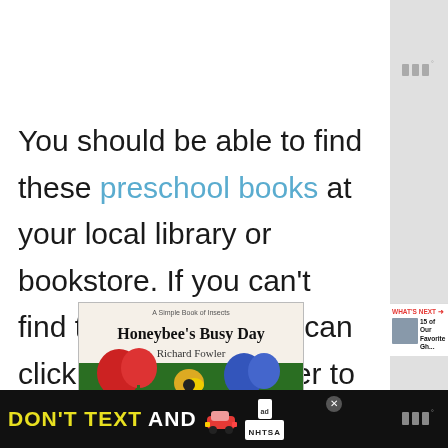You should be able to find these preschool books at your local library or bookstore. If you can't find them locally, you can click each image cover to purchase them on Amazon.
[Figure (illustration): Book cover for Honeybee's Busy Day by Richard Fowler, showing colorful flowers, a bee and other nature imagery]
[Figure (screenshot): WHAT'S NEXT panel showing thumbnail of next article: 15 of Our Favorite Gh...]
[Figure (infographic): Advertisement banner: DON'T TEXT AND [car emoji] with NHTSA ad label]